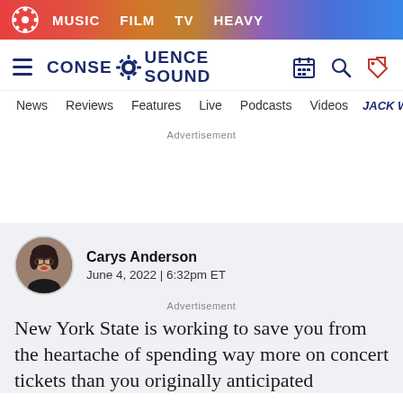MUSIC   FILM   TV   HEAVY
[Figure (logo): Consequence Sound logo with gear icon and text CONSEQUENCE SOUND]
News   Reviews   Features   Live   Podcasts   Videos   JACK WH...
Advertisement
Carys Anderson
June 4, 2022 | 6:32pm ET
Advertisement
New York State is working to save you from the heartache of spending way more on concert tickets than you originally anticipated